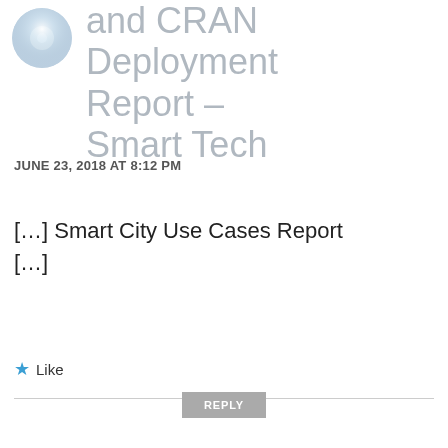[Figure (photo): Circular avatar image with light blue/grey tones showing a bright light or lens flare effect]
and CRAN Deployment Report – Smart Tech
JUNE 23, 2018 AT 8:12 PM
[…] Smart City Use Cases Report […]
Like
REPLY